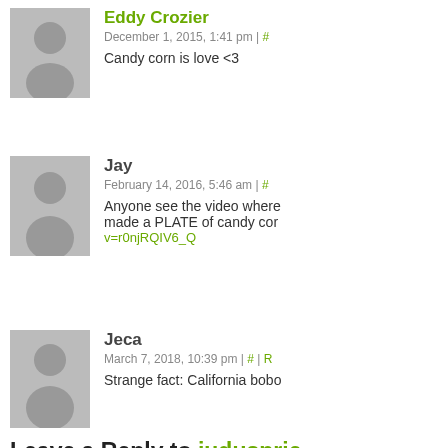Eddy Crozier
December 1, 2015, 1:41 pm | #
Candy corn is love <3
Jay
February 14, 2016, 5:46 am | #
Anyone see the video where made a PLATE of candy cor… v=r0njRQIV6_Q
Jeca
March 7, 2018, 10:39 pm | # | R
Strange fact: California bobo…
Leave a Reply to judusprie…
Enter your comment here...
©2011-2022 A. Stiffler & K. Copeland | Powere…